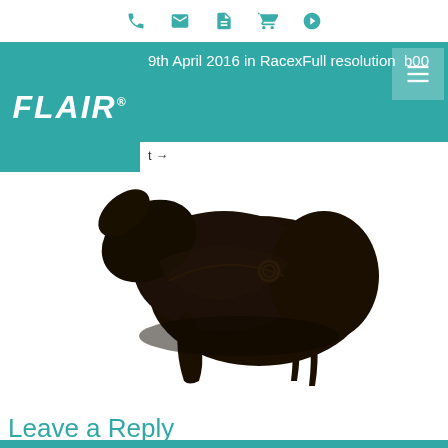Navigation icons: phone, email, document, cart, play
[Figure (logo): Flair brand logo in white italic text on teal background]
9th April 2016 in RacexFull resolution  b100
t →
[Figure (photo): Black leather horse saddle on white background, side view showing seat, pommel, flap and stirrup leathers]
Leave a Reply